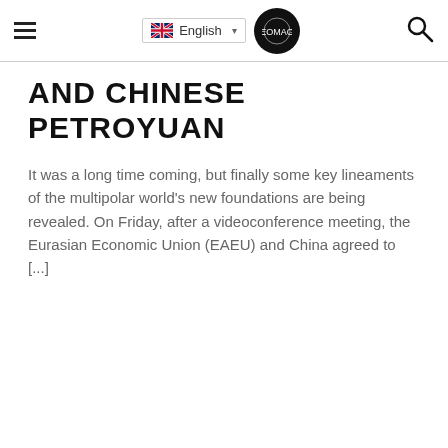English [language selector] [logo] [search]
AND CHINESE PETROYUAN
It was a long time coming, but finally some key lineaments of the multipolar world's new foundations are being revealed. On Friday, after a videoconference meeting, the Eurasian Economic Union (EAEU) and China agreed to [...]